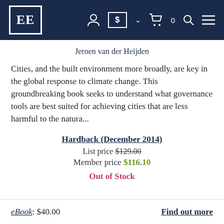EE [logo] navigation bar with account, currency, cart, search, menu icons
Jeroen van der Heijden
Cities, and the built environment more broadly, are key in the global response to climate change. This groundbreaking book seeks to understand what governance tools are best suited for achieving cities that are less harmful to the natura...
Hardback (December 2014)
List price $129.00
Member price $116.10
Out of Stock
eBook: $40.00
Find out more